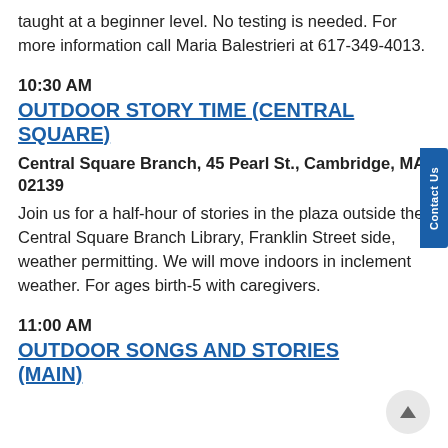taught at a beginner level. No testing is needed. For more information call Maria Balestrieri at 617-349-4013.
10:30 AM
OUTDOOR STORY TIME (CENTRAL SQUARE)
Central Square Branch, 45 Pearl St., Cambridge, MA 02139
Join us for a half-hour of stories in the plaza outside the Central Square Branch Library, Franklin Street side, weather permitting. We will move indoors in inclement weather. For ages birth-5 with caregivers.
11:00 AM
OUTDOOR SONGS AND STORIES (MAIN)